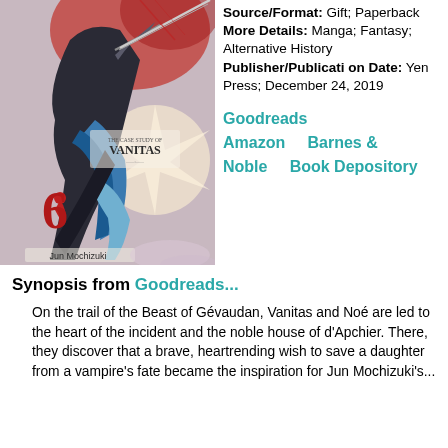[Figure (illustration): Book cover of 'The Case Study of Vanitas Vol. 6' by Jun Mochizuki, featuring an anime character in dark coat with blue sash, action pose with a sword, dark and red color scheme]
Source/Format: Gift; Paperback
More Details: Manga; Fantasy; Alternative History
Publisher/Publication Date: Yen Press; December 24, 2019

Goodreads
Amazon     Barnes & Noble     Book Depository
Synopsis from Goodreads...
On the trail of the Beast of Gévaudan, Vanitas and Noé are led to the heart of the incident and the noble house of d'Apchier. There, they discover that a brave, heartrending wish to save a daughter from a vampire's fate became the inspiration for Jun Mochizuki's...